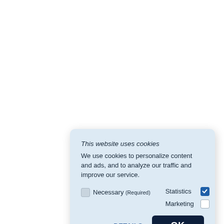[Figure (screenshot): Cookie consent dialog box with light blue background. Contains title 'This website uses cookies', body text about cookie usage, checkboxes for Necessary (Required), Statistics (checked), and Marketing (unchecked), and two action buttons: DETAILS and OK.]